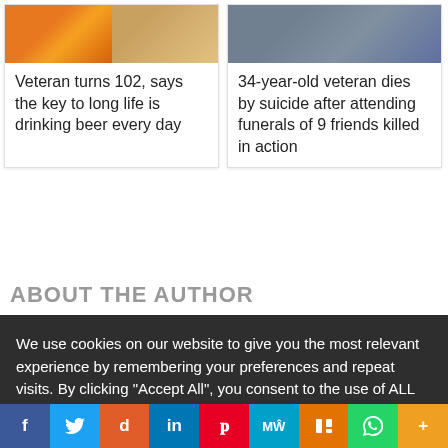[Figure (photo): Two article cards side by side. Left card shows images of people with beer/drinks (orange tones). Right card shows a person holding their face in distress (blue-grey tones).]
Veteran turns 102, says the key to long life is drinking beer every day
34-year-old veteran dies by suicide after attending funerals of 9 friends killed in action
ABOUT THE AUTHOR
We use cookies on our website to give you the most relevant experience by remembering your preferences and repeat visits. By clicking "Accept All", you consent to the use of ALL the cookies. However, you may visit "Cookie Settings" to provide a controlled consent.
Cookie Settings | Accept All
[Figure (infographic): Social media share bar with icons: Facebook, Twitter, Reddit, LinkedIn, Pinterest, MeWe, Mix, WhatsApp, More]